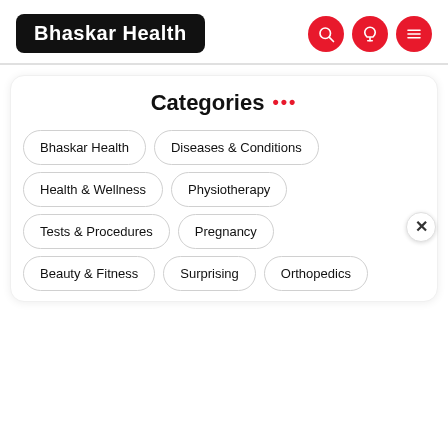Bhaskar Health
Categories ...
Bhaskar Health
Diseases & Conditions
Health & Wellness
Physiotherapy
Tests & Procedures
Pregnancy
Beauty & Fitness
Surprising
Orthopedics